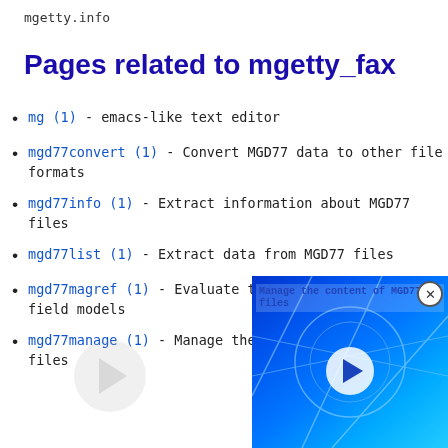mgetty.info
Pages related to mgetty_fax
mg (1) - emacs-like text editor
mgd77convert (1) - Convert MGD77 data to other file formats
mgd77info (1) - Extract information about MGD77 files
mgd77list (1) - Extract data from MGD77 files
mgd77magref (1) - Evaluate the IGRF or CM4 magnetic field models
mgd77manage (1) - Manage the content of MGD77+ files